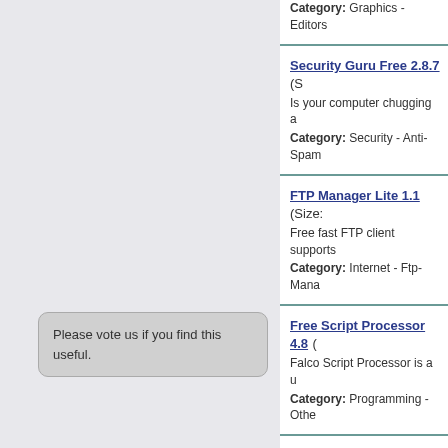Category: Graphics - Editors
Security Guru Free 2.8.7 (S... Is your computer chugging a... Category: Security - Anti-Spam
FTP Manager Lite 1.1 (Size:... Free fast FTP client supports... Category: Internet - Ftp-Mana...
Free Script Processor 4.8 (... Falco Script Processor is a u... Category: Programming - Othe...
Direct PHP Framework 0.3... Direct PHP Framework is de... Category: Web-Development -
P... F... T... Category: ...
Please vote us if you find this useful.